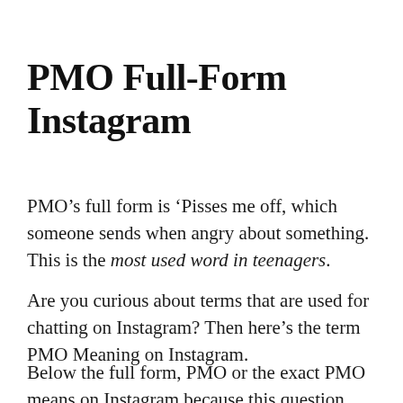PMO Full-Form Instagram
PMO’s full form is ‘Pisses me off, which someone sends when angry about something. This is the most used word in teenagers.
Are you curious about terms that are used for chatting on Instagram? Then here’s the term PMO Meaning on Instagram.
Below the full form, PMO or the exact PMO means on Instagram because this question